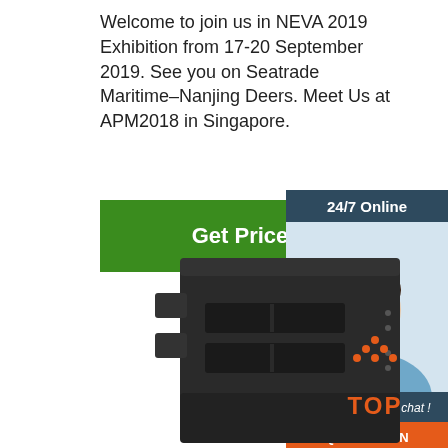Welcome to join us in NEVA 2019 Exhibition from 17-20 September 2019. See you on Seatrade Maritime–Nanjing Deers. Meet Us at APM2018 in Singapore.
Get Price
24/7 Online
[Figure (photo): Customer service representative with headset, smiling]
Click here for free chat !
QUOTATION
[Figure (photo): Dark industrial equipment/server rack unit viewed from front]
[Figure (illustration): Orange TOP badge with triangle dots above the letters]